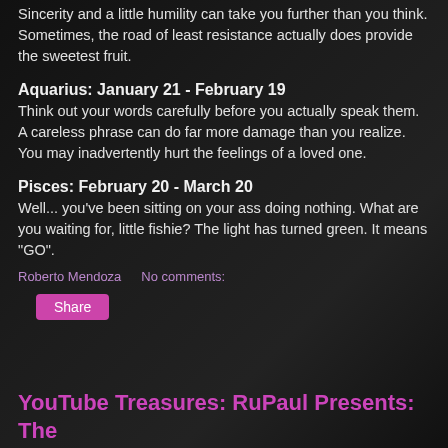Sincerity and a little humility can take you further than you think. Sometimes, the road of least resistance actually does provide the sweetest fruit.
Aquarius: January 21 - February 19
Think out your words carefully before you actually speak them. A careless phrase can do far more damage than you realize. You may inadvertently hurt the feelings of a loved one.
Pisces: February 20 - March 20
Well... you've been sitting on your ass doing nothing. What are you waiting for, little fishie? The light has turned green. It means "GO".
Roberto Mendoza    No comments:
YouTube Treasures: RuPaul Presents: The